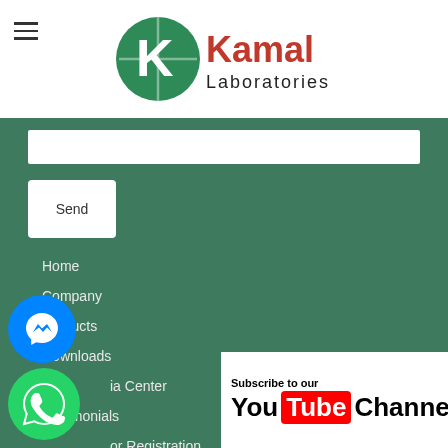[Figure (logo): Kamal Laboratories logo with green K icon and red Kamal text with black Laboratories text]
Home
Company
Products
Downloads
Media Center
Testimonials
or Registration
Blog
[Figure (screenshot): Subscribe to our YouTube Channel banner]
[Figure (logo): Facebook Messenger icon blue circle]
[Figure (logo): WhatsApp green icon]